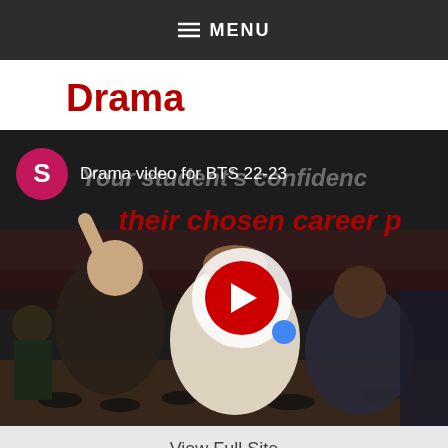☰ MENU
Drama
[Figure (screenshot): Video thumbnail showing students celebrating in a gymnasium/auditorium setting. A YouTube-style play button is visible in the center. A pink avatar circle with letter 'S' and text 'Drama video for BTS 22-23' appear in the upper left. Background text reads 'Your student's confidence' and 'their chosen career p' in red italic.]
View Full Site